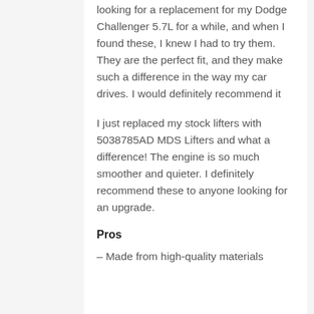looking for a replacement for my Dodge Challenger 5.7L for a while, and when I found these, I knew I had to try them. They are the perfect fit, and they make such a difference in the way my car drives. I would definitely recommend it
I just replaced my stock lifters with 5038785AD MDS Lifters and what a difference! The engine is so much smoother and quieter. I definitely recommend these to anyone looking for an upgrade.
Pros
– Made from high-quality materials